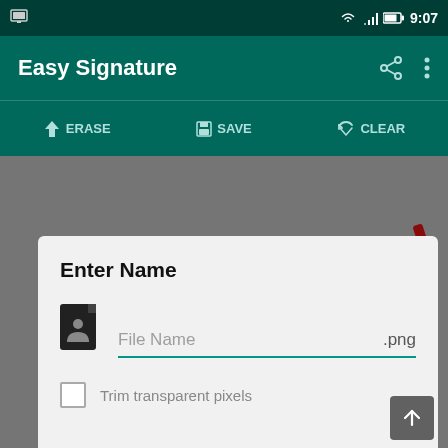[Figure (screenshot): Android status bar showing a photo/gallery icon on the left and WiFi, signal, battery icons plus time 9:07 on the right]
Easy Signature
ERASE   SAVE   CLEAR
[Figure (screenshot): Grey canvas area of the Easy Signature drawing app with a dark red pen stroke visible at the upper right]
Enter Name
File Name .png
Trim transparent pixels